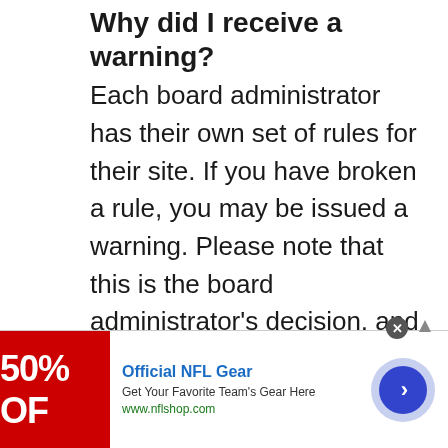Why did I receive a warning?
Each board administrator has their own set of rules for their site. If you have broken a rule, you may be issued a warning. Please note that this is the board administrator's decision, and the phpBB Group has nothing to do with the warnings on the given site. Contact the board administrator if you are unsure about why you were issued a warning.
[Figure (infographic): Advertisement banner for Official NFL Gear showing a red image with '50% OFF' text on the left, ad copy in the middle, and a blue arrow button on the right with a close (X) button.]